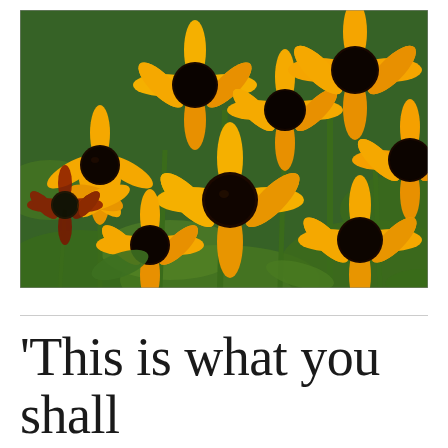[Figure (photo): Photograph of bright yellow Black-eyed Susan (Rudbeckia) flowers with dark brown/black centers, blooming densely against green foliage background.]
‘This is what you shall